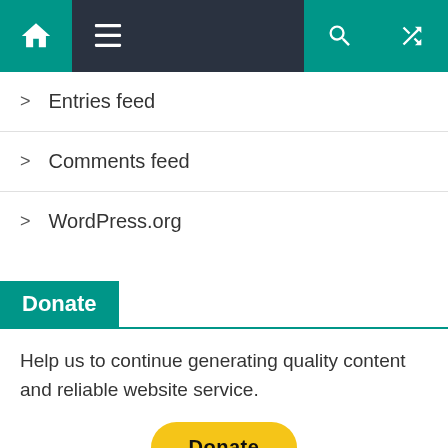[Figure (screenshot): Website navigation bar with home icon, hamburger menu, search icon, and shuffle icon on dark background with teal accent colors]
Entries feed
Comments feed
WordPress.org
Donate
Help us to continue generating quality content and reliable website service.
[Figure (other): PayPal Donate button (yellow rounded rectangle) with payment card logos below (Visa, Mastercard, Maestro, American Express, Discover, and another card)]
Recent Comments